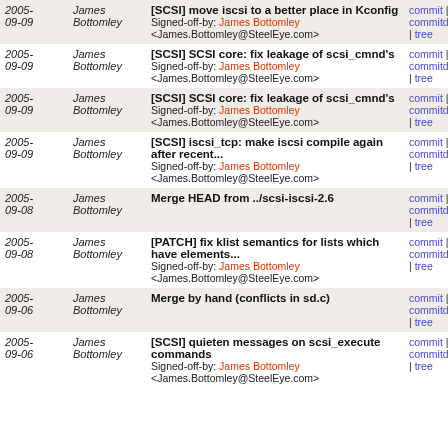| Date | Author | Message | Links |
| --- | --- | --- | --- |
| 2005-09-09 | James Bottomley | [SCSI] move iscsi to a better place in Kconfig
Signed-off-by: James Bottomley <James.Bottomley@SteelEye.com> | commit | commitdiff | tree |
| 2005-09-09 | James Bottomley | [SCSI] SCSI core: fix leakage of scsi_cmnd's
Signed-off-by: James Bottomley <James.Bottomley@SteelEye.com> | commit | commitdiff | tree |
| 2005-09-09 | James Bottomley | [SCSI] SCSI core: fix leakage of scsi_cmnd's
Signed-off-by: James Bottomley <James.Bottomley@SteelEye.com> | commit | commitdiff | tree |
| 2005-09-09 | James Bottomley | [SCSI] iscsi_tcp: make iscsi compile again after recent...
Signed-off-by: James Bottomley <James.Bottomley@SteelEye.com> | commit | commitdiff | tree |
| 2005-09-08 | James Bottomley | Merge HEAD from ../scsi-iscsi-2.6 | commit | commitdiff | tree |
| 2005-09-08 | James Bottomley | [PATCH] fix klist semantics for lists which have elements...
Signed-off-by: James Bottomley <James.Bottomley@SteelEye.com> | commit | commitdiff | tree |
| 2005-09-06 | James Bottomley | Merge by hand (conflicts in sd.c) | commit | commitdiff | tree |
| 2005-09-06 | James Bottomley | [SCSI] quieten messages on scsi_execute commands
Signed-off-by: James Bottomley <James.Bottomley@SteelEye.com> | commit | commitdiff | tree |